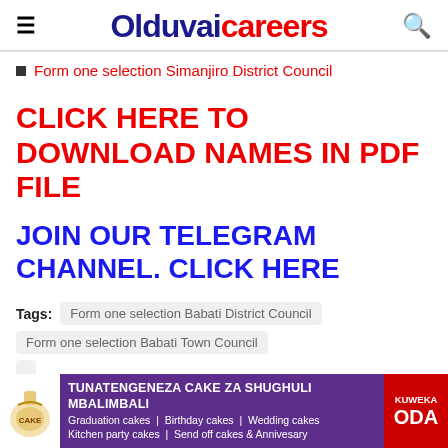Olduvaicareers
Form one selection Simanjiro District Council
CLICK HERE TO DOWNLOAD NAMES IN PDF FILE
JOIN OUR TELEGRAM CHANNEL. CLICK HERE
Tags: Form one selection Babati District Council  Form one selection Babati Town Council
[Figure (infographic): Advertisement banner for cake shop: TUNATENGENEZA CAKE ZA SHUGHULI MBALIMBALI - Graduation cakes, Birthday cakes, Wedding cakes, Kitchen party cakes, Send off cakes & Annivesary. KUWEKA ODA button.]